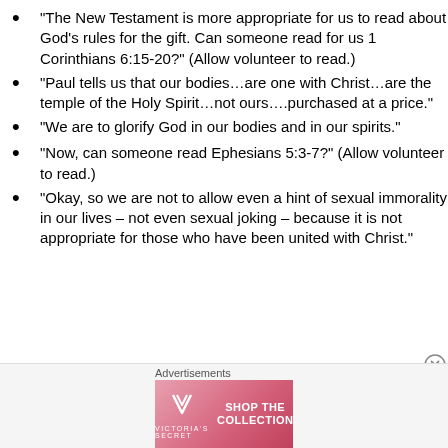“The New Testament is more appropriate for us to read about God’s rules for the gift. Can someone read for us 1 Corinthians 6:15-20?” (Allow volunteer to read.)
“Paul tells us that our bodies…are one with Christ…are the temple of the Holy Spirit…not ours….purchased at a price.”
“We are to glorify God in our bodies and in our spirits.”
“Now, can someone read Ephesians 5:3-7?” (Allow volunteer to read.)
“Okay, so we are not to allow even a hint of sexual immorality in our lives – not even sexual joking – because it is not appropriate for those who have been united with Christ.”
Advertisements
[Figure (other): Victoria's Secret advertisement banner with model, VS logo, 'SHOP THE COLLECTION' text, and 'SHOP NOW' button]